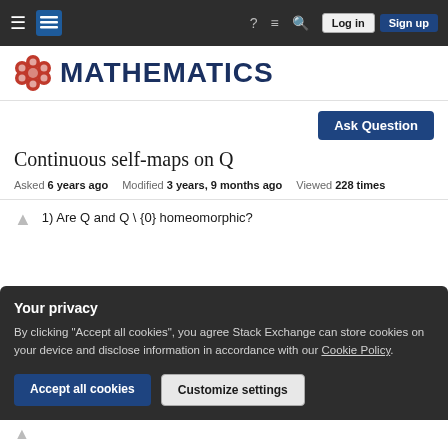Mathematics Stack Exchange navigation bar with Log in and Sign up buttons
[Figure (logo): Mathematics Stack Exchange logo with red hexagonal icon and MATHEMATICS text in dark blue]
Ask Question
Continuous self-maps on Q
Asked 6 years ago   Modified 3 years, 9 months ago   Viewed 228 times
1) Are Q and Q \ {0} homeomorphic?
Your privacy
By clicking "Accept all cookies", you agree Stack Exchange can store cookies on your device and disclose information in accordance with our Cookie Policy.
Accept all cookies   Customize settings